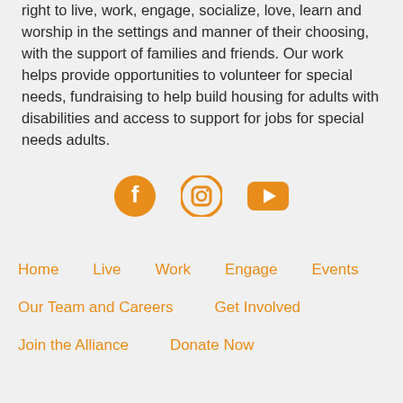right to live, work, engage, socialize, love, learn and worship in the settings and manner of their choosing, with the support of families and friends. Our work helps provide opportunities to volunteer for special needs, fundraising to help build housing for adults with disabilities and access to support for jobs for special needs adults.
[Figure (other): Three social media icons in orange: Facebook, Instagram, YouTube]
Home   Live   Work   Engage   Events
Our Team and Careers   Get Involved
Join the Alliance   Donate Now